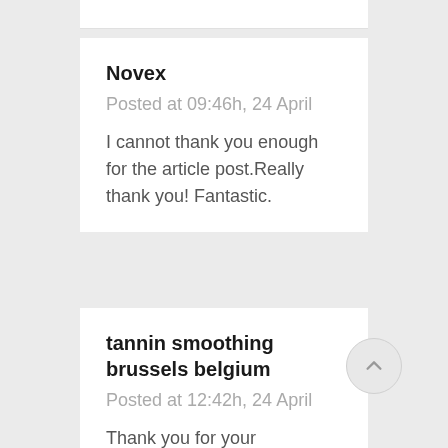Novex
Posted at 09:46h, 24 April
I cannot thank you enough for the article post.Really thank you! Fantastic.
tannin smoothing brussels belgium
Posted at 12:42h, 24 April
Thank you for your